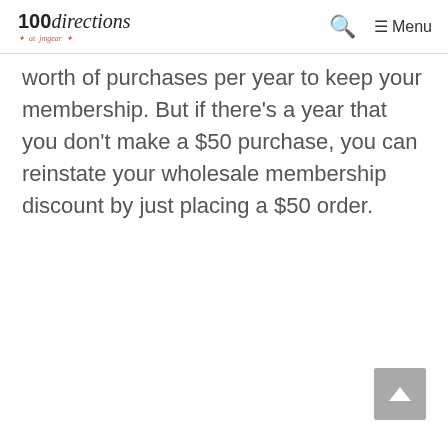100directions — Menu
worth of purchases per year to keep your membership. But if there's a year that you don't make a $50 purchase, you can reinstate your wholesale membership discount by just placing a $50 order.